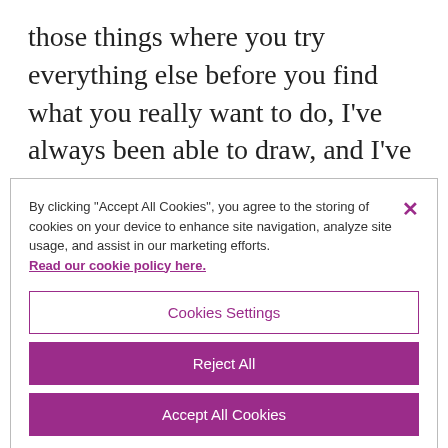those things where you try everything else before you find what you really want to do, I've always been able to draw, and I've always enjoyed drawing. I was always fixated on maps and drawing and that kind of thing. But then at school we never really got to
By clicking "Accept All Cookies", you agree to the storing of cookies on your device to enhance site navigation, analyze site usage, and assist in our marketing efforts. Read our cookie policy here.
Cookies Settings
Reject All
Accept All Cookies